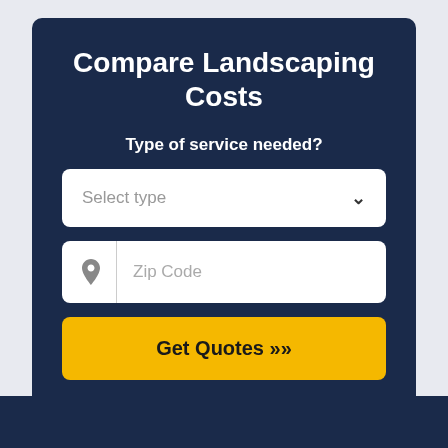Compare Landscaping Costs
Type of service needed?
Select type
Zip Code
Get Quotes »